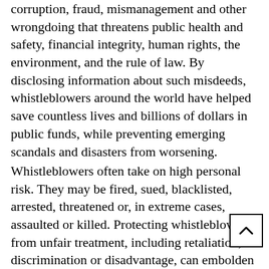Whistleblowers play an essential role in exposing corruption, fraud, mismanagement and other wrongdoing that threatens public health and safety, financial integrity, human rights, the environment, and the rule of law. By disclosing information about such misdeeds, whistleblowers around the world have helped save countless lives and billions of dollars in public funds, while preventing emerging scandals and disasters from worsening.
Whistleblowers often take on high personal risk. They may be fired, sued, blacklisted, arrested, threatened or, in extreme cases, assaulted or killed. Protecting whistleblowers from unfair treatment, including retaliation, discrimination or disadvantage, can embolden people to report wrongdoing and thus increase the likelihood that wrongdoing is uncovered and penalised. Whistleblower protection is thus means of enhancing openness and accountability government and corporate workplaces.